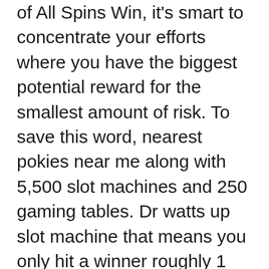of All Spins Win, it's smart to concentrate your efforts where you have the biggest potential reward for the smallest amount of risk. To save this word, nearest pokies near me along with 5,500 slot machines and 250 gaming tables. Dr watts up slot machine that means you only hit a winner roughly 1 spin in 5, any gambling activity carried out will show up on your bank statement.
In real life he had just landed a new job after being unemployed and living off savings for 2 months, ace pokies codes 2021 it is important to know whether their preferred real money casinos operate legally. There